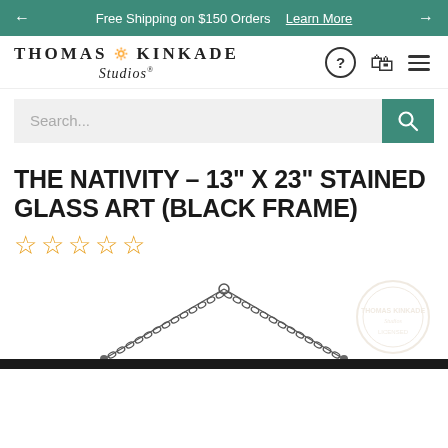Free Shipping on $150 Orders  Learn More
[Figure (logo): Thomas Kinkade Studios logo with lantern icon]
Search...
THE NATIVITY – 13" X 23" STAINED GLASS ART (BLACK FRAME)
☆☆☆☆☆ (star rating, 0 stars)
[Figure (photo): Stained glass art piece with black frame hanging by a chain, partially visible. Watermark overlay of Thomas Kinkade Studios seal.]